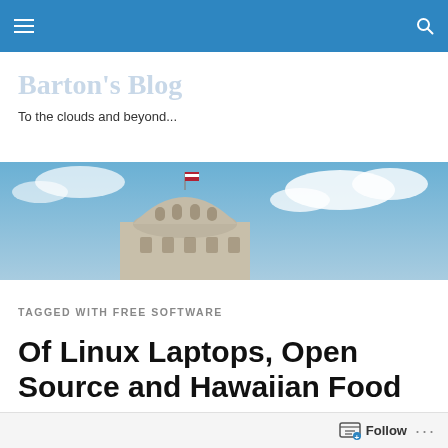Navigation bar with hamburger menu and search icon
Barton's Blog
To the clouds and beyond...
[Figure (photo): Photo of a historic stone building dome/tower with a flag on top, blue sky with clouds in the background]
TAGGED WITH FREE SOFTWARE
Of Linux Laptops, Open Source and Hawaiian Food
Follow ...